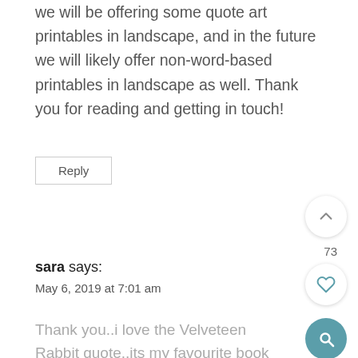we will be offering some quote art printables in landscape, and in the future we will likely offer non-word-based printables in landscape as well. Thank you for reading and getting in touch!
Reply
73
sara says:
May 6, 2019 at 7:01 am
Thank you..i love the Velveteen Rabbit quote..its my favourite book from childhood.